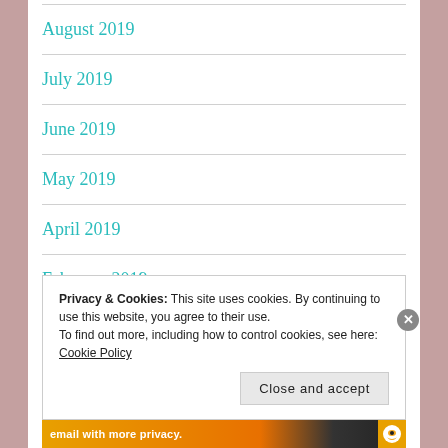August 2019
July 2019
June 2019
May 2019
April 2019
February 2019
Privacy & Cookies: This site uses cookies. By continuing to use this website, you agree to their use.
To find out more, including how to control cookies, see here: Cookie Policy
Close and accept
email with more privacy.